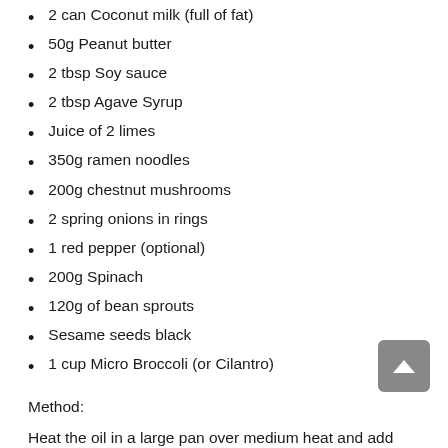2 can Coconut milk (full of fat)
50g Peanut butter
2 tbsp Soy sauce
2 tbsp Agave Syrup
Juice of 2 limes
350g ramen noodles
200g chestnut mushrooms
2 spring onions in rings
1 red pepper (optional)
200g Spinach
120g of bean sprouts
Sesame seeds black
1 cup Micro Broccoli (or Cilantro)
Method:
Heat the oil in a large pan over medium heat and add